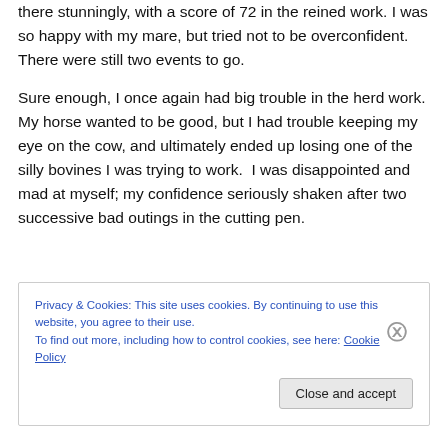there stunningly, with a score of 72 in the reined work. I was so happy with my mare, but tried not to be overconfident.  There were still two events to go.
Sure enough, I once again had big trouble in the herd work.  My horse wanted to be good, but I had trouble keeping my eye on the cow, and ultimately ended up losing one of the silly bovines I was trying to work.  I was disappointed and mad at myself; my confidence seriously shaken after two successive bad outings in the cutting pen.
Privacy & Cookies: This site uses cookies. By continuing to use this website, you agree to their use.
To find out more, including how to control cookies, see here: Cookie Policy